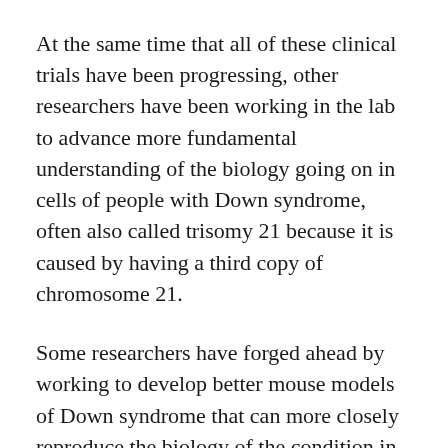At the same time that all of these clinical trials have been progressing, other researchers have been working in the lab to advance more fundamental understanding of the biology going on in cells of people with Down syndrome, often also called trisomy 21 because it is caused by having a third copy of chromosome 21.
Some researchers have forged ahead by working to develop better mouse models of Down syndrome that can more closely reproduce the biology of the condition in the lab. Tarik Haydar of the Center for Neuroscience Research at Children's National Hospital in Washington DC described his lab's recent study showing how variations in a predominant mouse model called